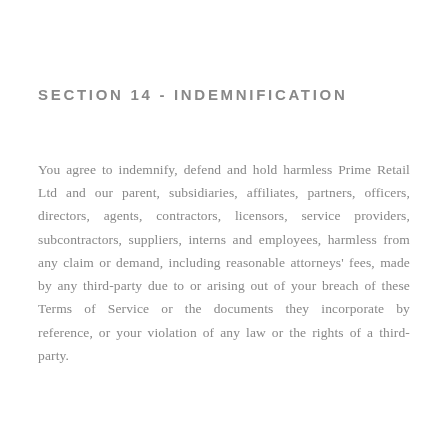SECTION 14 - INDEMNIFICATION
You agree to indemnify, defend and hold harmless Prime Retail Ltd and our parent, subsidiaries, affiliates, partners, officers, directors, agents, contractors, licensors, service providers, subcontractors, suppliers, interns and employees, harmless from any claim or demand, including reasonable attorneys' fees, made by any third-party due to or arising out of your breach of these Terms of Service or the documents they incorporate by reference, or your violation of any law or the rights of a third-party.